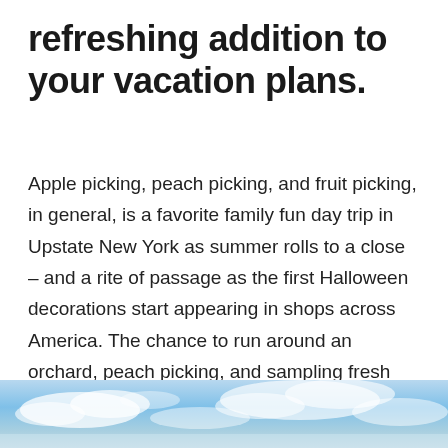refreshing addition to your vacation plans.
Apple picking, peach picking, and fruit picking, in general, is a favorite family fun day trip in Upstate New York as summer rolls to a close – and a rite of passage as the first Halloween decorations start appearing in shops across America. The chance to run around an orchard, peach picking, and sampling fresh fruit is something all kids (and kidults) should experience at least once. And three hours up the Hudson River, in the northern Catskills, the orchards are the perfect addition to a weekender.
[Figure (photo): A sky with blue tones and white clouds, serving as a decorative image at the bottom of the page.]